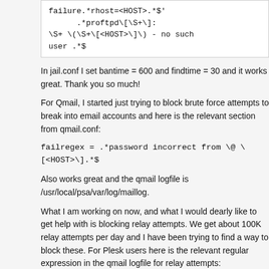failure.*rhost=<HOST>.*$'
.*proftpd[\S+\]:
\S+ \(\S+\[<HOST>\]\) - no such
user .*$
In jail.conf I set bantime = 600 and findtime = 30 and it works great. Thank you so much!
For Qmail, I started just trying to block brute force attempts to break into email accounts and here is the relevant section from qmail.conf:
failregex = .*password incorrect from \@ \[<HOST>\].*$
Also works great and the qmail logfile is /usr/local/psa/var/log/maillog.
What I am working on now, and what I would dearly like to get help with is blocking relay attempts. We get about 100K relay attempts per day and I have been trying to find a way to block these. For Plesk users here is the relevant regular expression in the qmail logfile for relay attempts:
.*relaylock: mail from <HOST>.*$